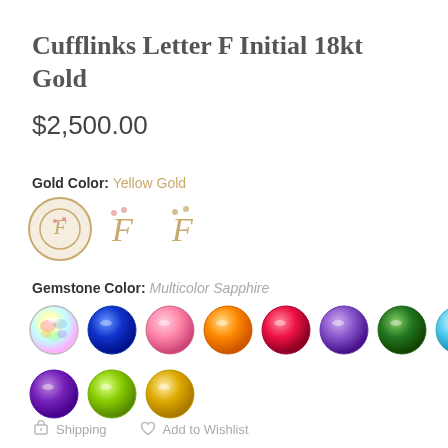Cufflinks Letter F Initial 18kt Gold
$2,500.00
Gold Color: Yellow Gold
[Figure (photo): Three gold letter F cufflink options: one selected in a circle, two variants shown smaller]
Gemstone Color: Multicolor Sapphire
[Figure (photo): Row of gemstone color swatches: multicolor/rainbow, blue, pink, orange, red/ruby, purple/amethyst, green, light blue in first row; then purple, green/peridot, yellow/gold in second row]
Shipping   Add to Wishlist